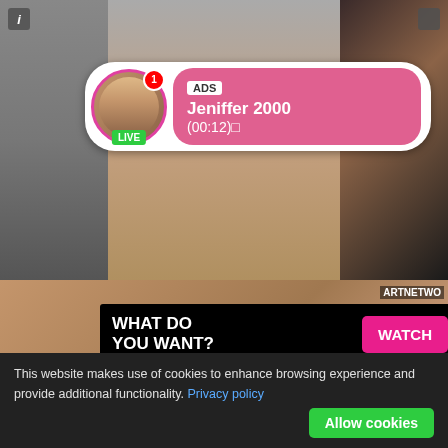[Figure (screenshot): Adult website screenshot showing thumbnail grid, live cam ad overlay, and popup ad]
ADS
Jeniffer 2000
(00:12)
LIVE
WHAT DO YOU WANT?
WATCH
Online
Cumming, ass fucking, squirt or...
• ADS
BLACK
ARTNETWO
BRAZ
This website makes use of cookies to enhance browsing experience and provide additional functionality. Privacy policy
Allow cookies